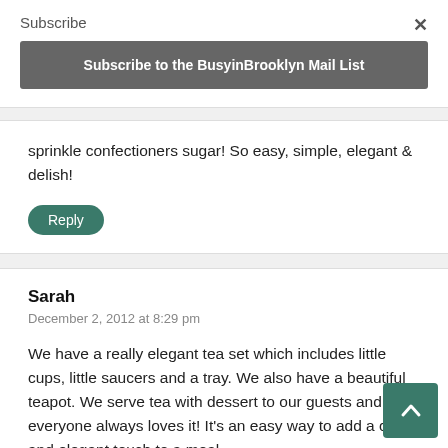Subscribe
×
Subscribe to the BusyinBrooklyn Mail List
sprinkle confectioners sugar! So easy, simple, elegant & delish!
Reply
Sarah
December 2, 2012 at 8:29 pm
We have a really elegant tea set which includes little cups, little saucers and a tray. We also have a beautiful teapot. We serve tea with dessert to our guests and everyone always loves it! It's an easy way to add a chic and elegant touch to a meal.